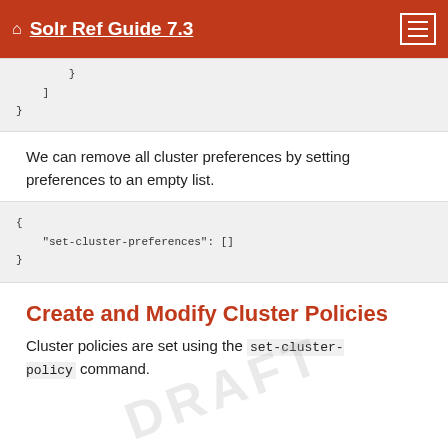Solr Ref Guide 7.3
}
  ]
}
We can remove all cluster preferences by setting preferences to an empty list.
{
  "set-cluster-preferences": []
}
Create and Modify Cluster Policies
Cluster policies are set using the set-cluster-policy command.